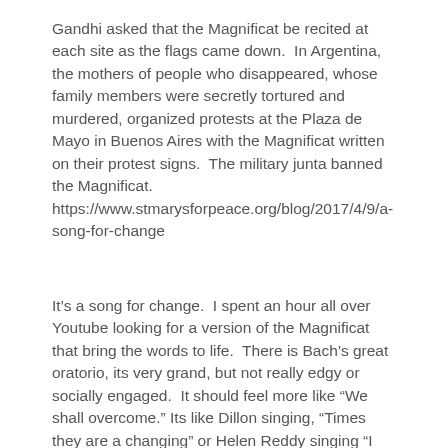Gandhi asked that the Magnificat be recited at each site as the flags came down.  In Argentina, the mothers of people who disappeared, whose family members were secretly tortured and murdered, organized protests at the Plaza de Mayo in Buenos Aires with the Magnificat written on their protest signs.  The military junta banned the Magnificat. https://www.stmarysforpeace.org/blog/2017/4/9/a-song-for-change
It's a song for change.  I spent an hour all over Youtube looking for a version of the Magnificat that bring the words to life.  There is Bach's great oratorio, its very grand, but not really edgy or socially engaged.  It should feel more like “We shall overcome.” Its like Dillon singing, “Times they are a changing” or Helen Reddy singing “I am Woman hear me roar.”  Maybe